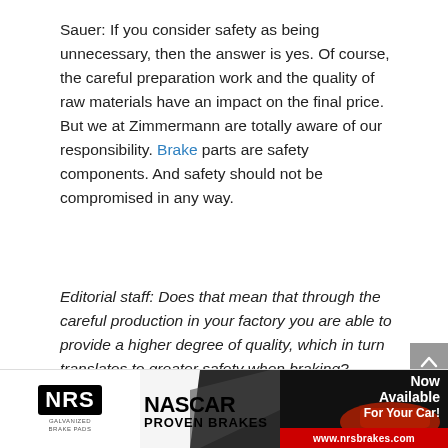Sauer: If you consider safety as being unnecessary, then the answer is yes. Of course, the careful preparation work and the quality of raw materials have an impact on the final price. But we at Zimmermann are totally aware of our responsibility. Brake parts are safety components. And safety should not be compromised in any way.
Editorial staff: Does that mean that through the careful production in your factory you are able to provide a higher degree of quality, which in turn translates to greater safety when braking?
[Figure (photo): NRS Galvanized Brake Pads advertisement banner featuring NRS logo, NASCAR Proven Brakes text, a photo of brake components, a Now Available For Your Car! callout, and www.nrsbrakes.com website URL on a red bar.]